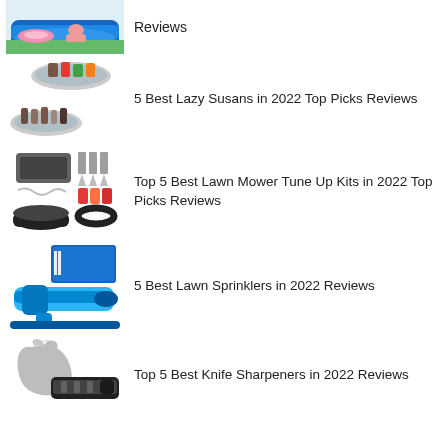Reviews
5 Best Lazy Susans in 2022 Top Picks Reviews
Top 5 Best Lawn Mower Tune Up Kits in 2022 Top Picks Reviews
5 Best Lawn Sprinklers in 2022 Reviews
Top 5 Best Knife Sharpeners in 2022 Reviews